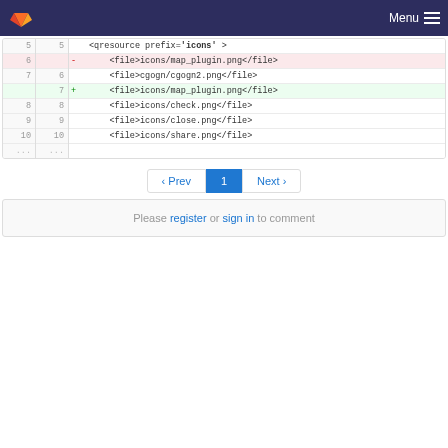GitLab — Menu
[Figure (screenshot): Code diff view showing XML file changes: line 5 unchanged with <qresource prefix='icons'>, line 6 deleted with <file>icons/map_plugin.png</file>, line 7/6 with <file>cgogn/cgogn2.png</file>, line 7 added with <file>icons/map_plugin.png</file>, lines 8-10 unchanged with check, close, share png files, then ellipsis rows]
‹ Prev  1  Next ›
Please register or sign in to comment